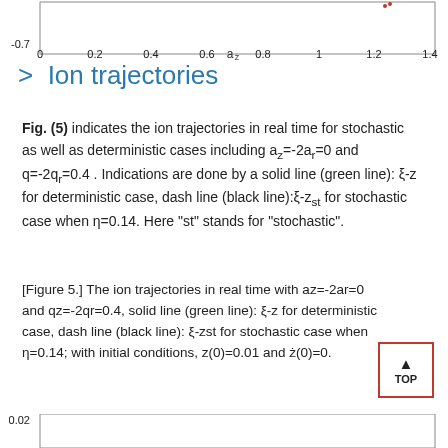[Figure (continuous-plot): Top portion of a stability diagram chart showing y-axis value -0.7 and x-axis labeled a_z ranging from 0 to 1.4, with tick marks at 0, 0.2, 0.4, 0.6, 0.8, 1, 1.2, 1.4]
> Ion trajectories
Fig. (5) indicates the ion trajectories in real time for stochastic as well as deterministic cases including a_z=-2a_r=0 and q=-2q_r=0.4 . Indications are done by a solid line (green line): ξ-z for deterministic case, dash line (black line):ξ-z_st for stochastic case when η=0.14. Here "st" stands for "stochastic".
[Figure 5.] The ion trajectories in real time with az=-2ar=0 and qz=-2qr=0.4, solid line (green line): ξ-z for deterministic case, dash line (black line): ξ-zst for stochastic case when η=0.14; with initial conditions, z(0)=0.01 and ż(0)=0.
[Figure (continuous-plot): Bottom portion of a figure showing y-axis label 0.02 at the top edge, beginning of a plot]